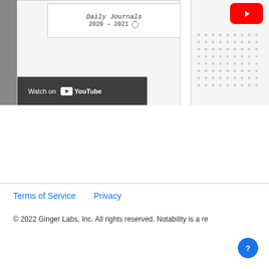[Figure (screenshot): Screenshot of a YouTube embedded video showing a notebook cover with handwritten title and date '2020-2021', with a YouTube play button and a 'Watch on YouTube' bar at the bottom left.]
Terms of Service    Privacy
© 2022 Ginger Labs, Inc. All rights reserved. Notability is a re…